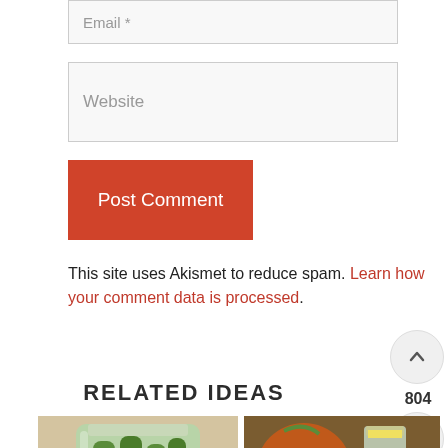Email *
Website
Post Comment
This site uses Akismet to reduce spam. Learn how your comment data is processed.
RELATED IDEAS
[Figure (photo): Photo of green pickles/cucumbers in a glass jar]
[Figure (photo): Photo of beets and canning jars with labels on a wooden surface]